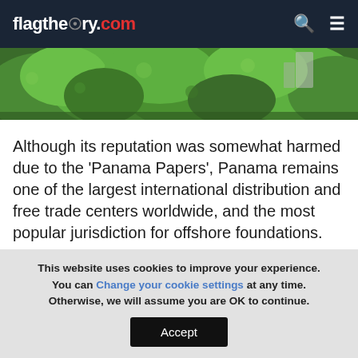flagtheory.com
[Figure (photo): Aerial view of lush green tropical forest/vegetation with some buildings visible in the background, likely Panama City area]
Although its reputation was somewhat harmed due to the ‘Panama Papers’, Panama remains one of the largest international distribution and free trade centers worldwide, and the most popular jurisdiction for offshore foundations.
This website uses cookies to improve your experience. You can Change your cookie settings at any time. Otherwise, we will assume you are OK to continue.